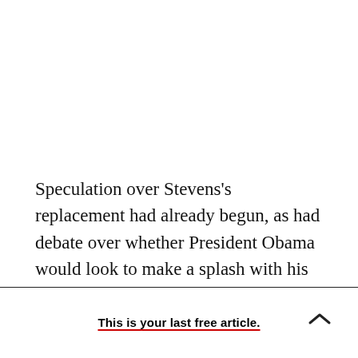Speculation over Stevens's replacement had already begun, as had debate over whether President Obama would look to make a splash with his choice--whether he would pick a "fight" with Republicans by nominating an outspoken liberal,
This is your last free article.